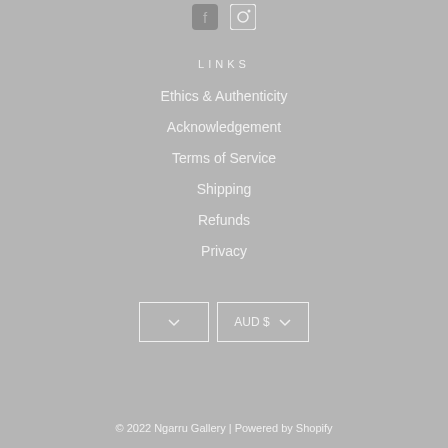[Figure (other): Social media icons (Facebook and Instagram) at top]
LINKS
Ethics & Authenticity
Acknowledgement
Terms of Service
Shipping
Refunds
Privacy
[Figure (other): Language selector dropdown and AUD $ currency selector dropdown]
© 2022 Ngarru Gallery | Powered by Shopify